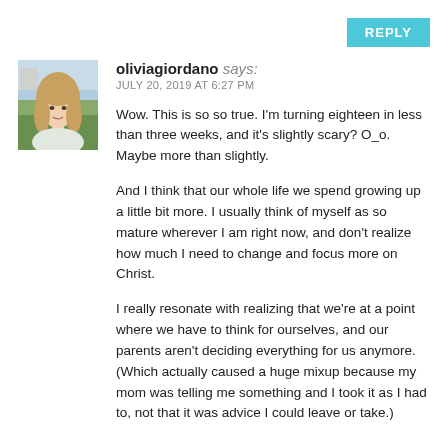REPLY
oliviagiordano says:
JULY 20, 2019 AT 6:27 PM
Wow. This is so so true. I'm turning eighteen in less than three weeks, and it's slightly scary? O_o. Maybe more than slightly.

And I think that our whole life we spend growing up a little bit more. I usually think of myself as so mature wherever I am right now, and don't realize how much I need to change and focus more on Christ.

I really resonate with realizing that we're at a point where we have to think for ourselves, and our parents aren't deciding everything for us anymore. (Which actually caused a huge mixup because my mom was telling me something and I took it as I had to, not that it was advice I could leave or take.)
[Figure (photo): Profile photo of oliviagiordano, a young woman with long blonde hair, outdoors with a green/field background.]